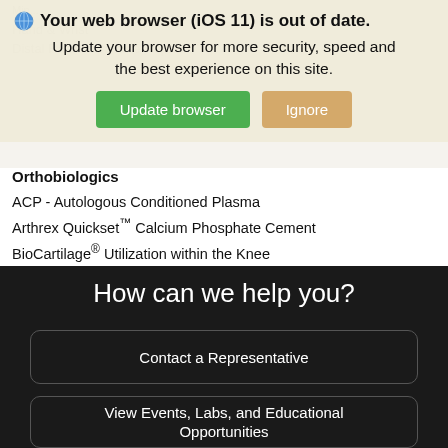Your web browser (iOS 11) is out of date. Update your browser for more security, speed and the best experience on this site.
Hand & Wrist
Distal Radius Fracture Repair
Orthobiologics
ACP - Autologous Conditioned Plasma
Arthrex Quickset™ Calcium Phosphate Cement
BioCartilage® Utilization within the Knee
How can we help you?
Contact a Representative
View Events, Labs, and Educational Opportunities